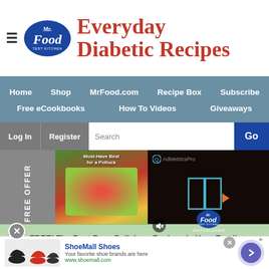Mr. Food Test Kitchen — Everyday Diabetic Recipes
[Figure (screenshot): Mr. Food Test Kitchen logo (blue oval with Mr. Food Test Kitchen text)]
Everyday Diabetic Recipes
[Figure (screenshot): Navigation menu: Home, Shop, MrFood.com, Recipe Box, Subscribe, Free eCookbooks, How To Videos, Giveaways]
[Figure (screenshot): Search bar with Log In, Register buttons and Go button]
[Figure (screenshot): Free Offer sidebar with cookbook cover and video player overlay showing AdMetricsPro and Mr. Food Test Kitchen branding with play button]
FREE! The Best Free, Delicious Recipes in Your Email.
[Figure (screenshot): ShoeMall Shoes advertisement: Your favorite shoe brands are here. www.shoemall.com]